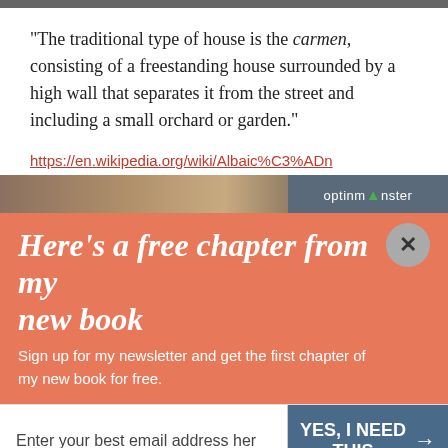[Figure (photo): Top image bar cropped at the top of the page]
“The traditional type of house is the carmen, consisting of a freestanding house surrounded by a high wall that separates it from the street and including a small orchard or garden.”
https://en.wikipedia.org/wiki/Albaic%C3%ADn
[Figure (photo): Photo strip of building/architecture with optinmonster badge overlay]
Here’s a free chapter from my new book
Sign up for my newsletter and get the first chapter of my new book for free.
Enter your best email address her
YES, I NEED THIS